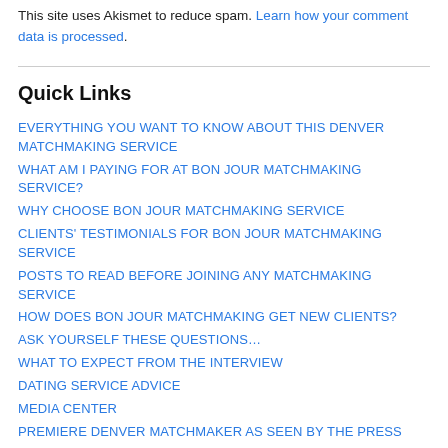This site uses Akismet to reduce spam. Learn how your comment data is processed.
Quick Links
EVERYTHING YOU WANT TO KNOW ABOUT THIS DENVER MATCHMAKING SERVICE
WHAT AM I PAYING FOR AT BON JOUR MATCHMAKING SERVICE?
WHY CHOOSE BON JOUR MATCHMAKING SERVICE
CLIENTS' TESTIMONIALS FOR BON JOUR MATCHMAKING SERVICE
POSTS TO READ BEFORE JOINING ANY MATCHMAKING SERVICE
HOW DOES BON JOUR MATCHMAKING GET NEW CLIENTS?
ASK YOURSELF THESE QUESTIONS…
WHAT TO EXPECT FROM THE INTERVIEW
DATING SERVICE ADVICE
MEDIA CENTER
PREMIERE DENVER MATCHMAKER AS SEEN BY THE PRESS